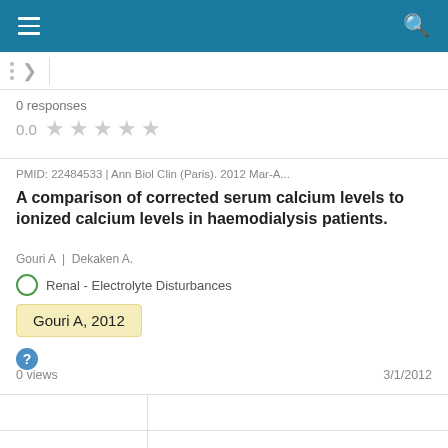0 responses
0.0 ★ ★ ★ ★ ★
PMID: 22484533 | Ann Biol Clin (Paris). 2012 Mar-A...
A comparison of corrected serum calcium levels to ionized calcium levels in haemodialysis patients.
Gouri A | Dekaken A.
Renal - Electrolyte Disturbances
Gouri A, 2012
0 views
3/1/2012